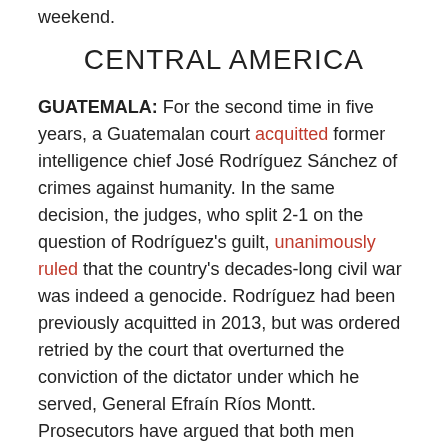weekend.
CENTRAL AMERICA
GUATEMALA: For the second time in five years, a Guatemalan court acquitted former intelligence chief José Rodríguez Sánchez of crimes against humanity. In the same decision, the judges, who split 2-1 on the question of Rodríguez's guilt, unanimously ruled that the country's decades-long civil war was indeed a genocide. Rodríguez had been previously acquitted in 2013, but was ordered retried by the court that overturned the conviction of the dictator under which he served, General Efraín Ríos Montt. Prosecutors have argued that both men ordered the killings of 1,771 indigenous Ixil Guatemalans in the 1980s.
GUATEMALA: Archaeologists identified more